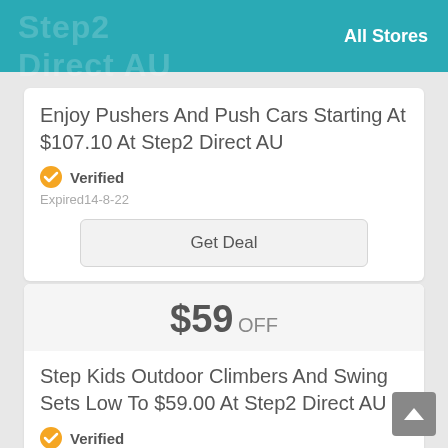All Stores
Enjoy Pushers And Push Cars Starting At $107.10 At Step2 Direct AU
Verified
Expired14-8-22
Get Deal
$59 OFF
Step Kids Outdoor Climbers And Swing Sets Low To $59.00 At Step2 Direct AU
Verified
Expired17-6-22